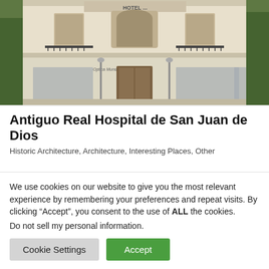[Figure (photo): Exterior photo of a historic European-style building facade, cream/white colored with ornate architectural details, balconies with iron railings, arched windows, decorative elements, and what appears to be a hotel sign at top. Trees visible on both sides.]
Antiguo Real Hospital de San Juan de Dios
Historic Architecture, Architecture, Interesting Places, Other
We use cookies on our website to give you the most relevant experience by remembering your preferences and repeat visits. By clicking “Accept”, you consent to the use of ALL the cookies.
Do not sell my personal information.